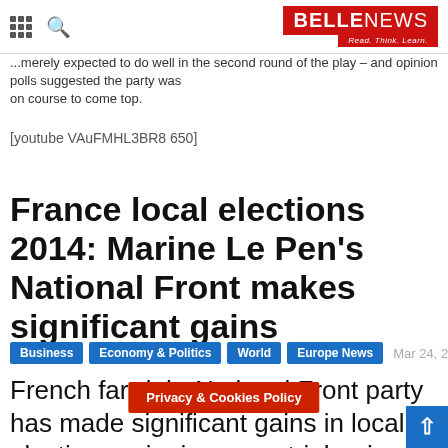BELLE NEWS — Read. Think. Learn.
...merely expected to do well in the second round of the play – and opinion polls suggested the party was on course to come top.
[youtube VAuFMHL3BR8 650]
France local elections 2014: Marine Le Pen's National Front makes significant gains
Business  Economy & Politics  World  Europe News  Mar 24, 2014
French far-right National Front party has made significant gains in local elections, winning an outright ... enin-